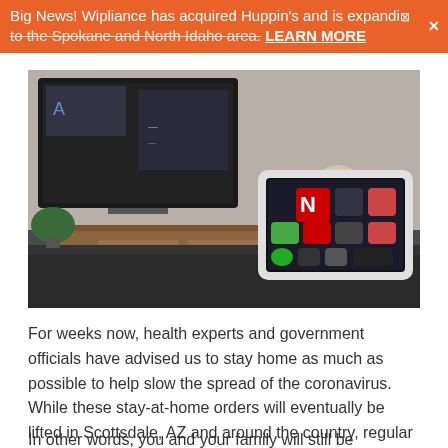Big News! Wipliance has acquired Huppin's and is expanding to the Spokane and North Idaho area. LEARN MORE
[Figure (photo): A white tablet/control panel device sitting on a dark table surface, with a smart home control interface visible on screen showing Netflix and other app icons. A TV and wooden dresser visible in the background.]
For weeks now, health experts and government officials have advised us to stay home as much as possible to help slow the spread of the coronavirus. While these stay-at-home orders will eventually be lifted in Scottsdale, AZ and around the country, regular outings will happen slowly and with precaution.
In other words, you and your family will still be spending